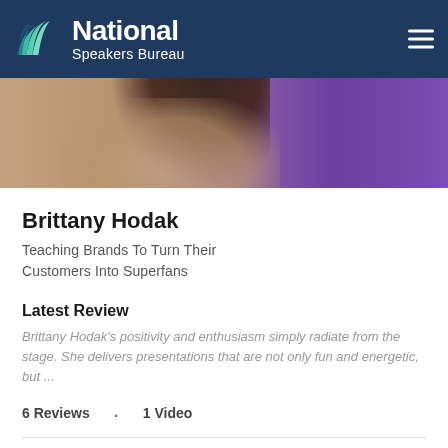National Speakers Bureau
[Figure (photo): Partial photo of Brittany Hodak, a woman with dark hair wearing a purple top, arms raised, cropped at head level]
Brittany Hodak
Teaching Brands To Turn Their Customers Into Superfans
Latest Review
Brittany Hodak's positivity and enthusiasm simply radiate from the stage. She delivers presentations that are not only fun and energetic, but ...
6 Reviews  ·  1 Video
$10,000 - $25,000